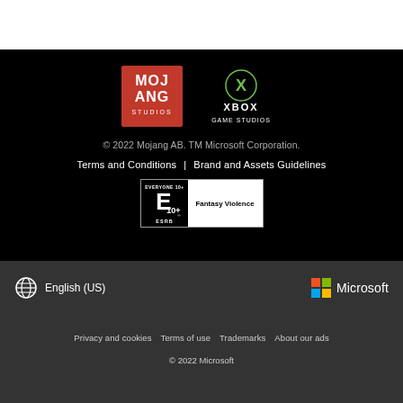[Figure (logo): Mojang Studios logo (red square with white text) and Xbox Game Studios logo (green Xbox circle with white text)]
© 2022 Mojang AB. TM Microsoft Corporation.
Terms and Conditions | Brand and Assets Guidelines
[Figure (other): ESRB rating badge: Everyone 10+ with Fantasy Violence descriptor]
[Figure (logo): Globe icon with English (US) language selector and Microsoft logo]
Privacy and cookies   Terms of use   Trademarks   About our ads   © 2022 Microsoft